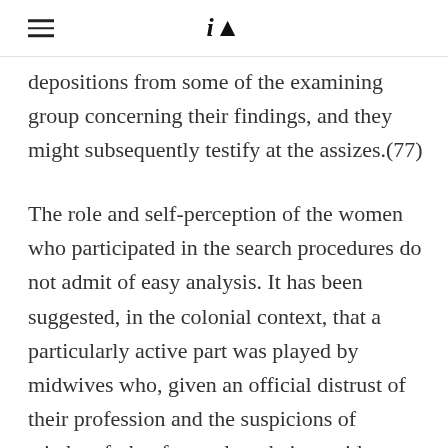iA
depositions from some of the examining group concerning their findings, and they might subsequently testify at the assizes.(77)
The role and self-perception of the women who participated in the search procedures do not admit of easy analysis. It has been suggested, in the colonial context, that a particularly active part was played by midwives who, given an official distrust of their profession and the suspicions of witchcraft that focused on their presidency over the enclosed process of birth and their use of charms, were protecting their own precarious positions by